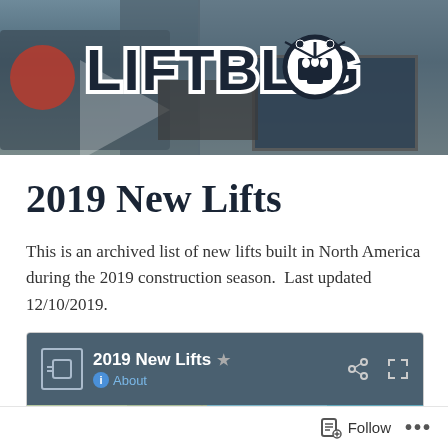[Figure (photo): LiftBlog website header banner showing ski lift gondola machinery in background with LIFTBLOG logo text in dark on white outlined letters]
2019 New Lifts
This is an archived list of new lifts built in North America during the 2019 construction season.  Last updated 12/10/2019.
[Figure (screenshot): Google My Maps embed showing '2019 New Lifts' map widget with dark teal header, share and expand icons, About link, and partial map preview showing NT region]
Follow   ...